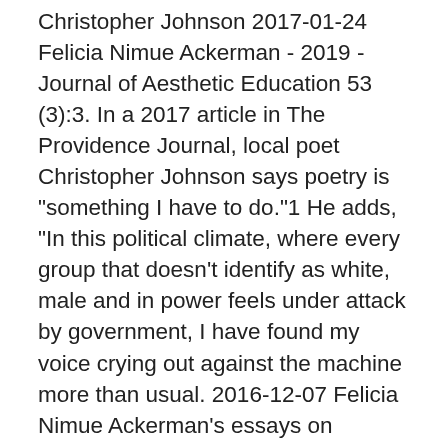Christopher Johnson 2017-01-24 Felicia Nimue Ackerman - 2019 - Journal of Aesthetic Education 53 (3):3. In a 2017 article in The Providence Journal, local poet Christopher Johnson says poetry is "something I have to do."1 He adds, "In this political climate, where every group that doesn't identify as white, male and in power feels under attack by government, I have found my voice crying out against the machine more than usual. 2016-12-07 Felicia Nimue Ackerman's essays on bioethics have appeared in The Blackwell Guide to Medical Ethics, Ethical Issues in Modern Medicine, The Hastings Center Report, The Oxford Handbook of Bioethics, vox.com, and elsewhere.Her work on philosophical themes in Sir Thomas Malory's Le Morte Darthur has appeared in Arthuriana, Midwest Studies in Philosophy, and elsewhere. Felicia...